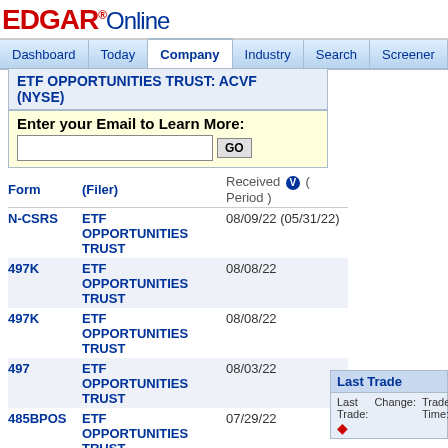EDGAR Online — Dashboard | Today | Company | Industry | Search | Screener | Ana
ETF OPPORTUNITIES TRUST: ACVF (NYSE)
Enter your Email to Learn More:
| Form | (Filer) | Received (Period) |
| --- | --- | --- |
| N-CSRS | ETF OPPORTUNITIES TRUST | 08/09/22 (05/31/22) |
| 497K | ETF OPPORTUNITIES TRUST | 08/08/22 |
| 497K | ETF OPPORTUNITIES TRUST | 08/08/22 |
| 497 | ETF OPPORTUNITIES TRUST | 08/03/22 |
| 485BPOS | ETF OPPORTUNITIES TRUST | 07/29/22 |
| NPORT-P | ETF OPPORTUNITIES TRUST | 07/27/22 (05/31/22) |
| 24F-2NT | ETF OPPORTUNITIES TRUST | 06/29/22 (03/31/22) |
Last Trade — Last Trade: [red diamond] Change: Trade Time: C